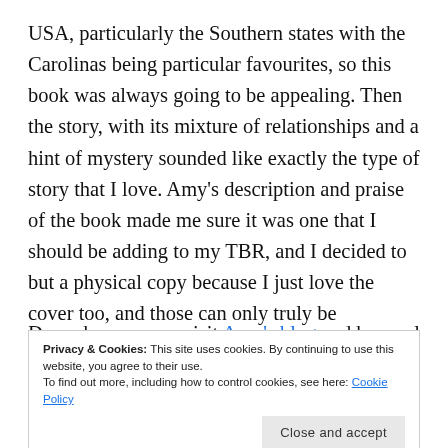USA, particularly the Southern states with the Carolinas being particular favourites, so this book was always going to be appealing. Then the story, with its mixture of relationships and a hint of mystery sounded like exactly the type of story that I love. Amy's description and praise of the book made me sure it was one that I should be adding to my TBR, and I decided to but a physical copy because I just love the cover too, and those can only truly be appreciated on a physical book.
Do make sure you visit Amy's blog and have a look
Privacy & Cookies: This site uses cookies. By continuing to use this website, you agree to their use. To find out more, including how to control cookies, see here: Cookie Policy
Close and accept
of her blog echoes most strongly her personality as I